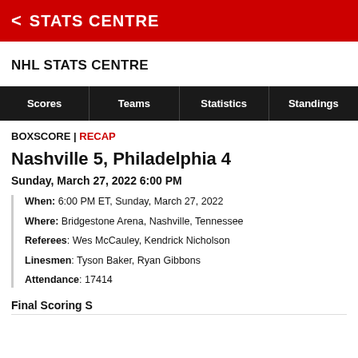STATS CENTRE
NHL STATS CENTRE
| Scores | Teams | Statistics | Standings |
| --- | --- | --- | --- |
BOXSCORE | RECAP
Nashville 5, Philadelphia 4
Sunday, March 27, 2022 6:00 PM
When: 6:00 PM ET, Sunday, March 27, 2022
Where: Bridgestone Arena, Nashville, Tennessee
Referees: Wes McCauley, Kendrick Nicholson
Linesmen: Tyson Baker, Ryan Gibbons
Attendance: 17414
Final Scoring S...